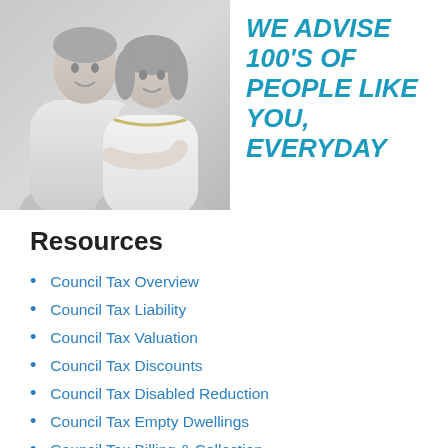[Figure (photo): Black and white photo of an older couple — a man standing behind a woman, both smiling]
WE ADVISE 100'S OF PEOPLE LIKE YOU, EVERYDAY
Resources
Council Tax Overview
Council Tax Liability
Council Tax Valuation
Council Tax Discounts
Council Tax Disabled Reduction
Council Tax Empty Dwellings
Council Tax Billing & Collection